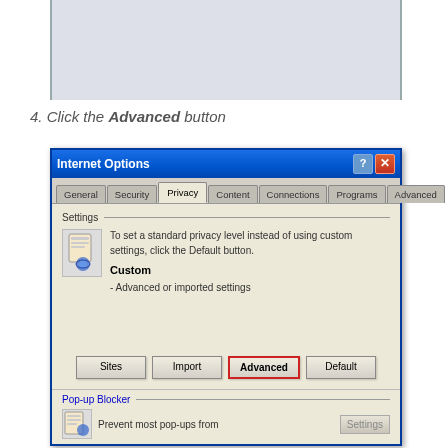[Figure (screenshot): Partial top of a Windows dialog box, showing left and right borders]
4. Click the Advanced button
[Figure (screenshot): Windows XP Internet Options dialog showing the Privacy tab. Settings section shows a custom icon, text about setting standard privacy level, 'Custom' heading with '- Advanced or imported settings' below. Bottom row has four buttons: Sites, Import, Advanced (highlighted with red border), Default. Below is the Pop-up Blocker section with 'Prevent most pop-ups from' text and a Settings button.]